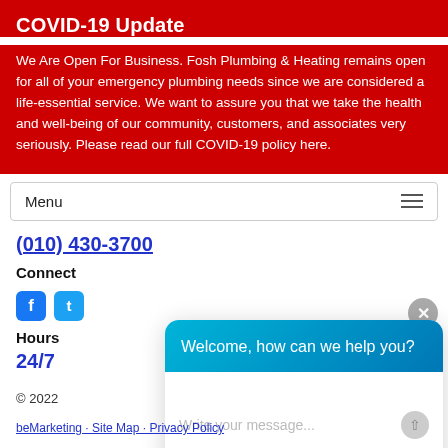COVID-19 Update
We Are Open For Business. Fosh Plumbing & Heating remains open for all of your emergency plumbing needs since we are considered a life-essential service. We want to assure you that we take the health and well-being of our community, customers, and associates very seriously. Please read our full COVID-19 policy here.
[Figure (screenshot): Navigation menu bar with 'Menu' label and hamburger icon]
(010) 430-3700
Connect
[Figure (screenshot): Facebook and Twitter social media icons]
Hours
24/7
[Figure (screenshot): Chat widget with header 'Welcome, how can we help you?' and input field 'Write your message...']
© 2022
beMarketing · Site Map · Privacy Policy